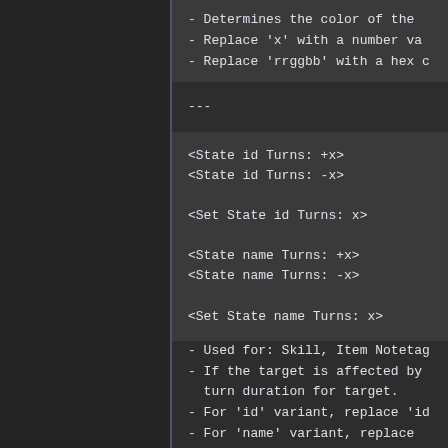- Determines the color of the
- Replace 'x' with a number va
- Replace 'rrggbb' with a hex c
---
<State id Turns: +x>
<State id Turns: -x>

<Set State id Turns: x>

<State name Turns: +x>
<State name Turns: -x>

<Set State name Turns: x>
- Used for: Skill, Item Notetag
- If the target is affected by
  turn duration for target.
- For 'id' variant, replace 'id
- For 'name' variant, replace
- Replace 'x' with the value yo
- Insert multiples of this note